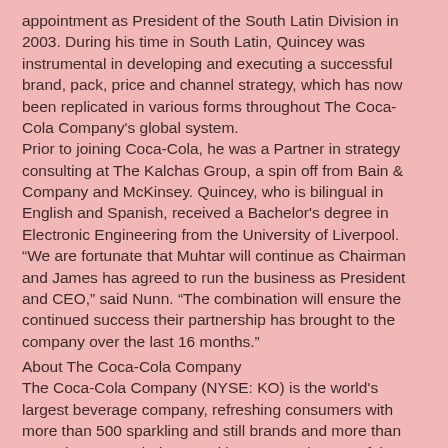appointment as President of the South Latin Division in 2003. During his time in South Latin, Quincey was instrumental in developing and executing a successful brand, pack, price and channel strategy, which has now been replicated in various forms throughout The Coca-Cola Company's global system.
Prior to joining Coca-Cola, he was a Partner in strategy consulting at The Kalchas Group, a spin off from Bain & Company and McKinsey. Quincey, who is bilingual in English and Spanish, received a Bachelor's degree in Electronic Engineering from the University of Liverpool.
“We are fortunate that Muhtar will continue as Chairman and James has agreed to run the business as President and CEO,” said Nunn. “The combination will ensure the continued success their partnership has brought to the company over the last 16 months.”
About The Coca-Cola Company
The Coca-Cola Company (NYSE: KO) is the world's largest beverage company, refreshing consumers with more than 500 sparkling and still brands and more than 3,800 beverage choices. Led by Coca-Cola, one of the world's most valuable and recognizable brands, our Company's portfolio features